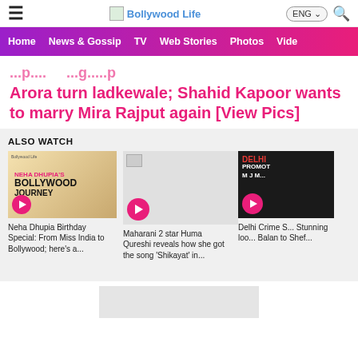Bollywood Life
Home  News & Gossip  TV  Web Stories  Photos  Video
Arora turn ladkewale; Shahid Kapoor wants to marry Mira Rajput again [View Pics]
ALSO WATCH
[Figure (screenshot): Video thumbnail: Neha Dhupia's Bollywood Journey]
Neha Dhupia Birthday Special: From Miss India to Bollywood; here's a...
[Figure (screenshot): Video thumbnail placeholder with play button]
Maharani 2 star Huma Qureshi reveals how she got the song 'Shikayat' in...
[Figure (screenshot): Video thumbnail: Delhi Crime promotions]
Delhi Crime S... Stunning loo... Balan to Shef...